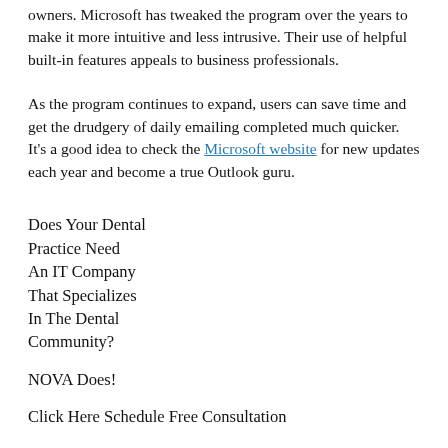owners. Microsoft has tweaked the program over the years to make it more intuitive and less intrusive. Their use of helpful built-in features appeals to business professionals.
As the program continues to expand, users can save time and get the drudgery of daily emailing completed much quicker. It's a good idea to check the Microsoft website for new updates each year and become a true Outlook guru.
Does Your Dental Practice Need An IT Company That Specializes In The Dental Community?
NOVA Does!
Click Here Schedule Free Consultation